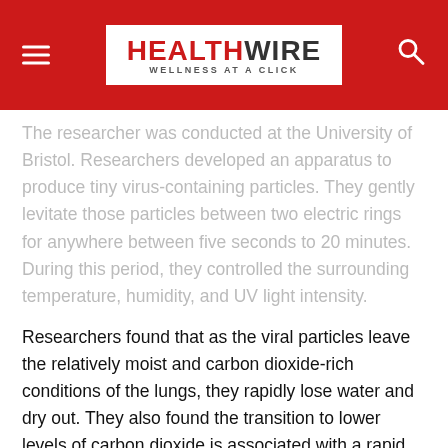HEALTHWIRE — WELLNESS AT A CLICK
The researcher was conducted at the University of Bristol. Researchers developed an apparatus to produce tiny virus-containing particles. They gently levitate those particles between two electric rings for anywhere between five seconds to 20 minutes. During this period, they controlled the surrounding temperature, humidity, and UV light intensity.
Researchers found that as the viral particles leave the relatively moist and carbon dioxide-rich conditions of the lungs, they rapidly lose water and dry out. They also found the transition to lower levels of carbon dioxide is associated with a rapid increase in pH.
The rate of degradation is dependent on the relative humidity of the surrounding air. When humidity was less than 50 per cent, the virus lost around half of its infectivity within five